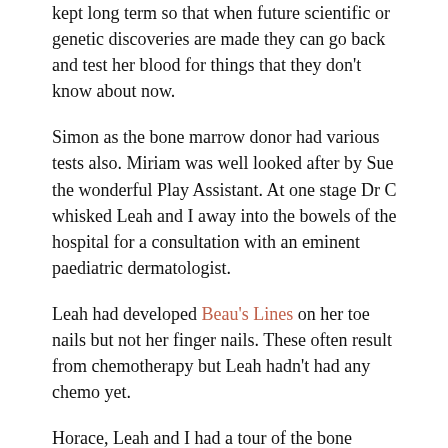kept long term so that when future scientific or genetic discoveries are made they can go back and test her blood for things that they don't know about now.
Simon as the bone marrow donor had various tests also. Miriam was well looked after by Sue the wonderful Play Assistant. At one stage Dr C whisked Leah and I away into the bowels of the hospital for a consultation with an eminent paediatric dermatologist.
Leah had developed Beau's Lines on her toe nails but not her finger nails. These often result from chemotherapy but Leah hadn't had any chemo yet.
Horace, Leah and I had a tour of the bone marrow transplant unit. Horace, Simon and I visited "SAMs House". Leah was by then too exhausted to accompany